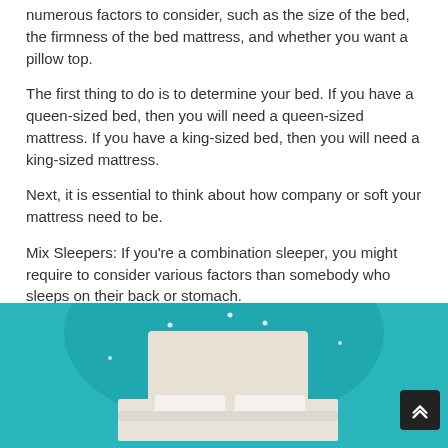numerous factors to consider, such as the size of the bed, the firmness of the bed mattress, and whether you want a pillow top.
The first thing to do is to determine your bed. If you have a queen-sized bed, then you will need a queen-sized mattress. If you have a king-sized bed, then you will need a king-sized mattress.
Next, it is essential to think about how company or soft your mattress need to be.
Mix Sleepers: If you're a combination sleeper, you might require to consider various factors than somebody who sleeps on their back or stomach.
[Figure (illustration): Illustration of a bed with white headboard and white bedding on a teal/turquoise background with small white decorative dots and a curved shape.]